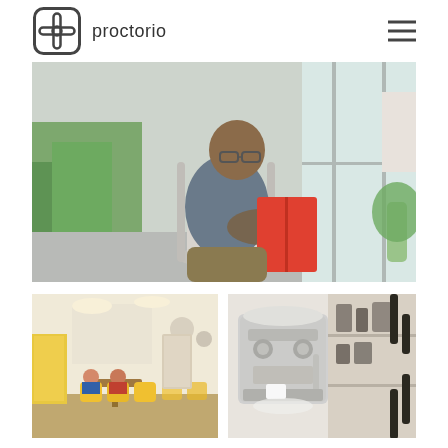proctorio
[Figure (photo): A bald man with glasses sitting in a modern chair reading a red book, in a bright office or co-working space with large windows and shelving in the background]
[Figure (photo): Interior of a modern cafe or co-working space with yellow chairs and tables, people sitting and working]
[Figure (photo): Close-up of a professional espresso coffee machine with steam and cups]